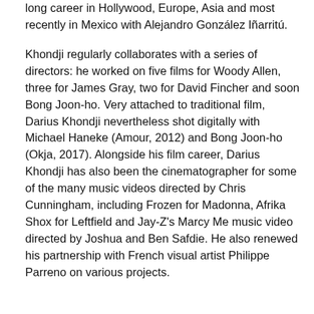long career in Hollywood, Europe, Asia and most recently in Mexico with Alejandro González Iñarritú.
Khondji regularly collaborates with a series of directors: he worked on five films for Woody Allen, three for James Gray, two for David Fincher and soon Bong Joon-ho. Very attached to traditional film, Darius Khondji nevertheless shot digitally with Michael Haneke (Amour, 2012) and Bong Joon-ho (Okja, 2017). Alongside his film career, Darius Khondji has also been the cinematographer for some of the many music videos directed by Chris Cunningham, including Frozen for Madonna, Afrika Shox for Leftfield and Jay-Z's Marcy Me music video directed by Joshua and Ben Safdie. He also renewed his partnership with French visual artist Philippe Parreno on various projects.
Alongside the Pierre Angénieux Tribute given to an already established cinematographer, Angénieux has been highlighting the promising work of young cinematographic talent. As such, since 2018, the ANGÉNIEUX SPECIAL ENCOURAGEMENT has been created and awarded to a new talent in the field of cinematography.